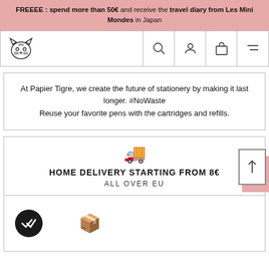FREEEE : spend more than 50€ and receive the travel diary from Les Mini Mondes in Japan
[Figure (screenshot): Navigation bar with tiger logo and icons for search, account, cart, and menu]
At Papier Tigre, we create the future of stationery by making it last longer. #NoWaste
Reuse your favorite pens with the cartridges and refills.
HOME DELIVERY STARTING FROM 8€
ALL OVER EU
[Figure (infographic): Delivery truck emoji and box emoji with scroll-to-top button]